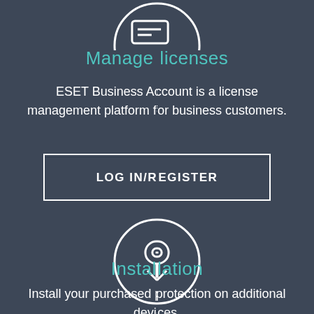[Figure (illustration): Circular icon with a license/card symbol, partially cropped at top of page]
Manage licenses
ESET Business Account is a license management platform for business customers.
LOG IN/REGISTER
[Figure (illustration): Circular icon with a download/installation symbol showing a disc with a downward arrow]
Installation
Install your purchased protection on additional devices.